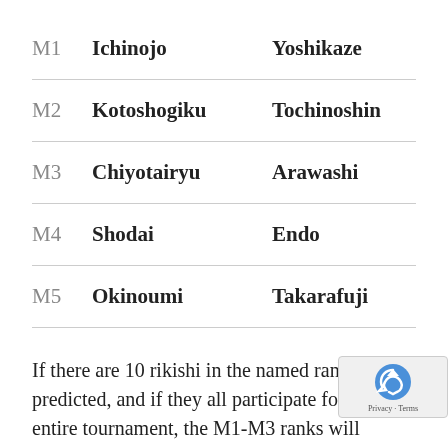| M1 | Ichinojo | Yoshikaze |
| M2 | Kotoshogiku | Tochinoshin |
| M3 | Chiyotairyu | Arawashi |
| M4 | Shodai | Endo |
| M5 | Okinoumi | Takarafuji |
If there are 10 rikishi in the named ranks as predicted, and if they all participate for the entire tournament, the M1-M3 ranks will constitute the joi, facing a full slate of San'yaku opponents. However, recent history suggests that some or all in the M4-M5 ranks will be drawn into the fray as well.